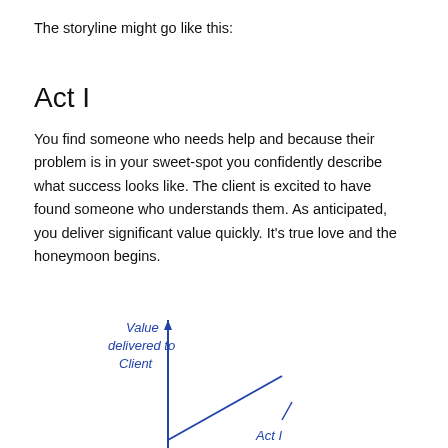The storyline might go like this:
Act I
You find someone who needs help and because their problem is in your sweet-spot you confidently describe what success looks like. The client is excited to have found someone who understands them. As anticipated, you deliver significant value quickly. It’s true love and the honeymoon begins.
[Figure (other): Hand-drawn chart showing y-axis labeled 'Value delivered to Client' and a rising line labeled 'Act I' in blue ink, showing increasing value delivered over time.]